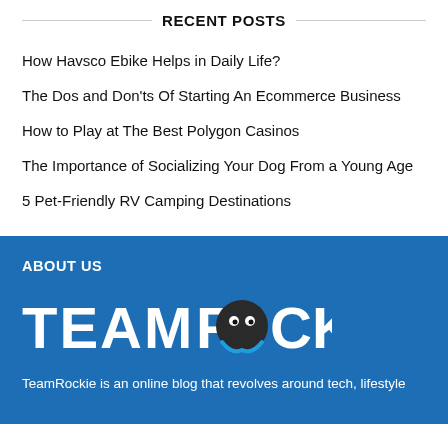RECENT POSTS
How Havsco Ebike Helps in Daily Life?
The Dos and Don'ts Of Starting An Ecommerce Business
How to Play at The Best Polygon Casinos
The Importance of Socializing Your Dog From a Young Age
5 Pet-Friendly RV Camping Destinations
ABOUT US
[Figure (logo): Team Rockie logo — white text 'TEAM ROCKIE' with a dark circular mascot face replacing the 'O' in ROCKIE, with a blue swoosh/speech bubble.]
TeamRockie is an online blog that revolves around tech, lifestyle